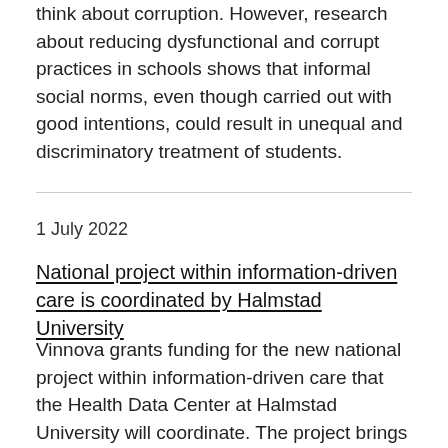think about corruption. However, research about reducing dysfunctional and corrupt practices in schools shows that informal social norms, even though carried out with good intentions, could result in unequal and discriminatory treatment of students.
1 July 2022
National project within information-driven care is coordinated by Halmstad University
Vinnova grants funding for the new national project within information-driven care that the Health Data Center at Halmstad University will coordinate. The project brings together several regions, universities, companies and organisations in a joint